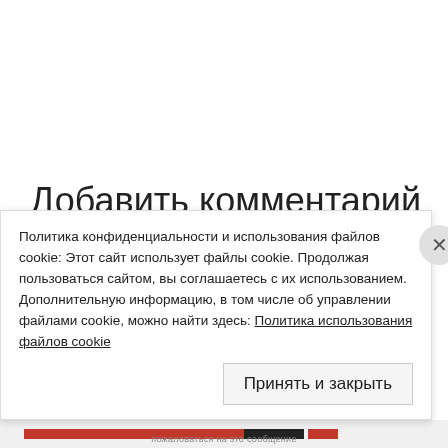Добавить комментарий
Ваш e–mail не будет опубликован.
Обязательные поля помечены *
Политика конфиденциальности и использования файлов cookie: Этот сайт использует файлы cookie. Продолжая пользоваться сайтом, вы соглашаетесь с их использованием. Дополнительную информацию, в том числе об управлении файлами cookie, можно найти здесь: Политика использования файлов cookie
Принять и закрыть